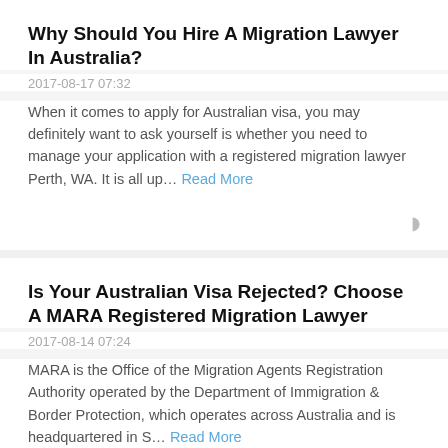Why Should You Hire A Migration Lawyer In Australia?
2017-08-17 07:32
When it comes to apply for Australian visa, you may definitely want to ask yourself is whether you need to manage your application with a registered migration lawyer Perth, WA. It is all up… Read More
Is Your Australian Visa Rejected? Choose A MARA Registered Migration Lawyer
2017-08-14 07:24
MARA is the Office of the Migration Agents Registration Authority operated by the Department of Immigration & Border Protection, which operates across Australia and is headquartered in S… Read More
Providing Professional Advice For Your Entire Australian Immigration Requirements
2017-08-07 06:39
Migration to Australia is a wish for many people, and for those already